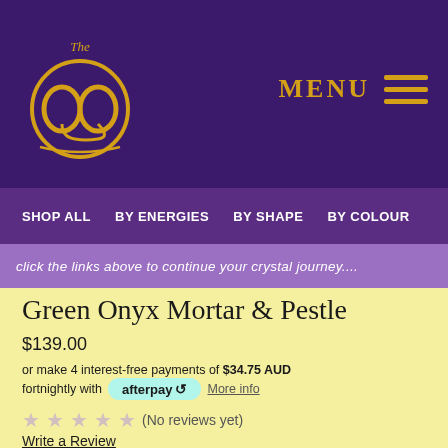[Figure (logo): The Ω (omega) logo in gold on dark purple background with 'The' text above]
MENU ☰
SHOP ALL   BY ENERGIES   BY SHAPE   BY COLOUR
click the links above to continue your crystal journey....
Green Onyx Mortar & Pestle
$139.00
or make 4 interest-free payments of $34.75 AUD fortnightly with afterpay  More info
★★★★★ (No reviews yet)
Write a Review
Dimensions:  10cm diameter, 9.5cm high, 1.08kg